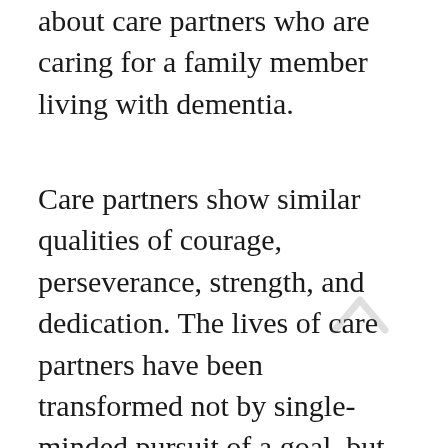about care partners who are caring for a family member living with dementia.
Care partners show similar qualities of courage, perseverance, strength, and dedication. The lives of care partners have been transformed not by single-minded pursuit of a goal, but by illness and vulnerability. They have responded to life-altering challenge with love and determination, and have adapted